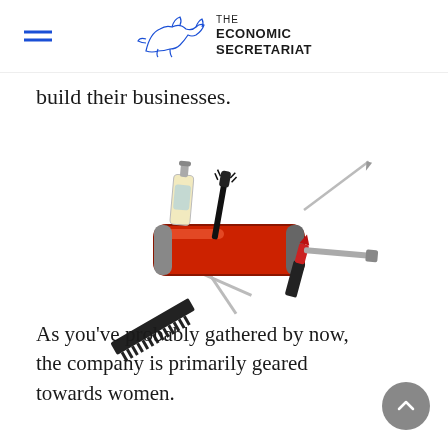THE ECONOMIC SECRETARIAT
build their businesses.
[Figure (photo): A Swiss Army knife-style multi-tool but with women's cosmetic/beauty items (mascara wand, perfume bottle, lipstick, scissors, comb, and a needle/pin) unfolding from a red handle instead of traditional blades.]
As you’ve probably gathered by now, the company is primarily geared towards women.